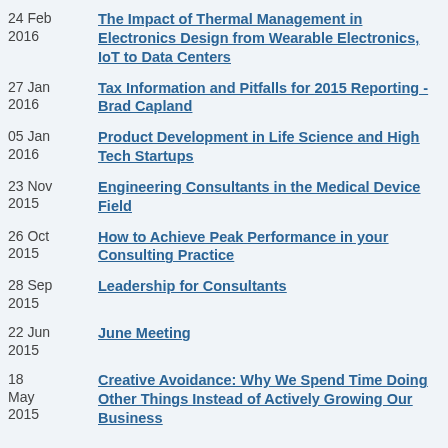24 Feb 2016 — The Impact of Thermal Management in Electronics Design from Wearable Electronics, IoT to Data Centers
27 Jan 2016 — Tax Information and Pitfalls for 2015 Reporting - Brad Capland
05 Jan 2016 — Product Development in Life Science and High Tech Startups
23 Nov 2015 — Engineering Consultants in the Medical Device Field
26 Oct 2015 — How to Achieve Peak Performance in your Consulting Practice
28 Sep 2015 — Leadership for Consultants
22 Jun 2015 — June Meeting
18 May 2015 — Creative Avoidance: Why We Spend Time Doing Other Things Instead of Actively Growing Our Business